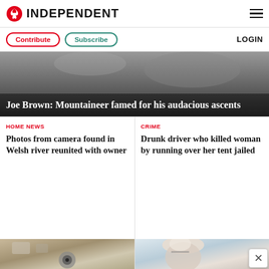INDEPENDENT
Contribute | Subscribe | LOGIN
[Figure (photo): Dark mountaineering/climbing background photo]
Joe Brown: Mountaineer famed for his audacious ascents
HOME NEWS
Photos from camera found in Welsh river reunited with owner
CRIME
Drunk driver who killed woman by running over her tent jailed
[Figure (photo): Photo of camera and items found in river]
[Figure (photo): Photo of woman (blonde, glasses)]